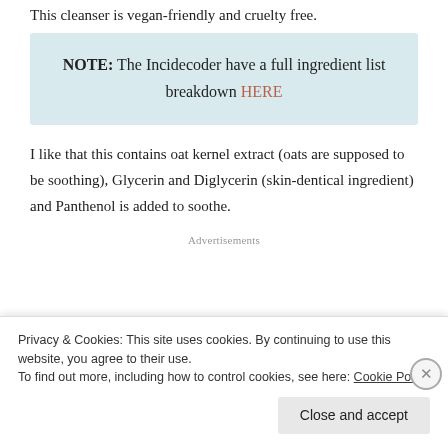This cleanser is vegan-friendly and cruelty free.
NOTE: The Incidecoder have a full ingredient list breakdown HERE
I like that this contains oat kernel extract (oats are supposed to be soothing), Glycerin and Diglycerin (skin-dentical ingredient) and Panthenol is added to soothe.
Advertisements
Privacy & Cookies: This site uses cookies. By continuing to use this website, you agree to their use.
To find out more, including how to control cookies, see here: Cookie Policy
Close and accept